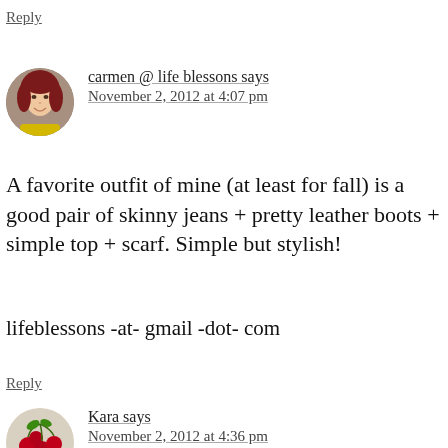Reply
carmen @ life blessons says
November 2, 2012 at 4:07 pm
A favorite outfit of mine (at least for fall) is a good pair of skinny jeans + pretty leather boots + simple top + scarf. Simple but stylish!
lifeblessons -at- gmail -dot- com
Reply
Kara says
November 2, 2012 at 4:36 pm